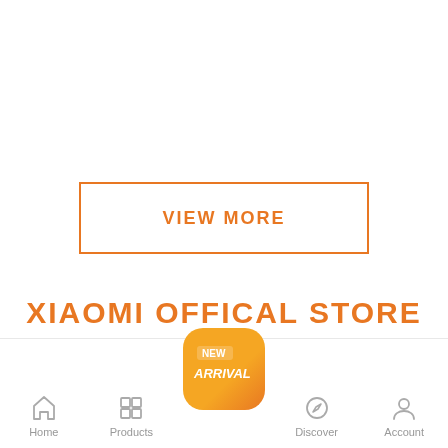[Figure (other): VIEW MORE button with orange border on white background]
XIAOMI OFFICAL STORE
[Figure (other): Mobile app bottom navigation bar with Home, Products, New Arrival (center highlighted), Discover, Account icons and a chat bubble floating button]